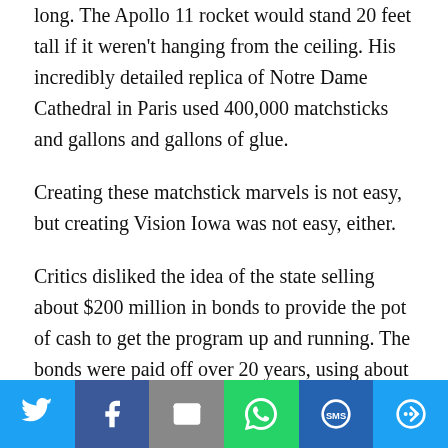long. The Apollo 11 rocket would stand 20 feet tall if it weren't hanging from the ceiling. His incredibly detailed replica of Notre Dame Cathedral in Paris used 400,000 matchsticks and gallons and gallons of glue.
Creating these matchstick marvels is not easy, but creating Vision Iowa was not easy, either.
Critics disliked the idea of the state selling about $200 million in bonds to provide the pot of cash to get the program up and running. The bonds were paid off over 20 years, using about $15 million annually from the state tax on gambling activities. The final payment was made last
[Figure (infographic): Social sharing bar with Twitter, Facebook, Email, WhatsApp, SMS, and More buttons]